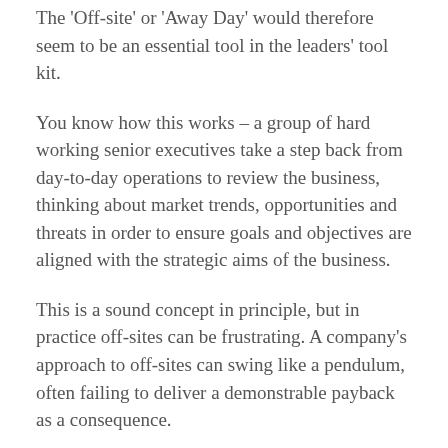The 'Off-site' or 'Away Day' would therefore seem to be an essential tool in the leaders' tool kit.
You know how this works – a group of hard working senior executives take a step back from day-to-day operations to review the business, thinking about market trends, opportunities and threats in order to ensure goals and objectives are aligned with the strategic aims of the business.
This is a sound concept in principle, but in practice off-sites can be frustrating. A company's approach to off-sites can swing like a pendulum, often failing to deliver a demonstrable payback as a consequence.